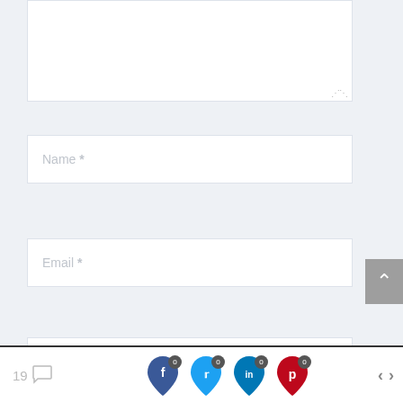[Figure (screenshot): Partially visible textarea input field at top of page, white background with resize handle]
Name *
Email *
Website
SUBMIT COMMENT
[Figure (screenshot): Bottom toolbar with comment count (19), social share icons for Facebook, Twitter, LinkedIn, Pinterest each with 0 badge, and navigation arrows]
19